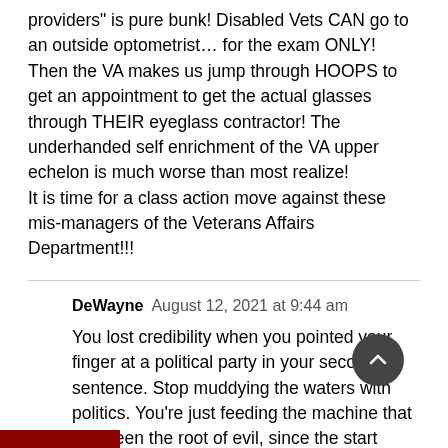providers" is pure bunk! Disabled Vets CAN go to an outside optometrist... for the exam ONLY! Then the VA makes us jump through HOOPS to get an appointment to get the actual glasses through THEIR eyeglass contractor! The underhanded self enrichment of the VA upper echelon is much worse than most realize! It is time for a class action move against these mis-managers of the Veterans Affairs Department!!!
DeWayne  August 12, 2021 at 9:44 am
You lost credibility when you pointed your finger at a political party in your second sentence. Stop muddying the waters with politics. You're just feeding the machine that has been the root of evil, since the start